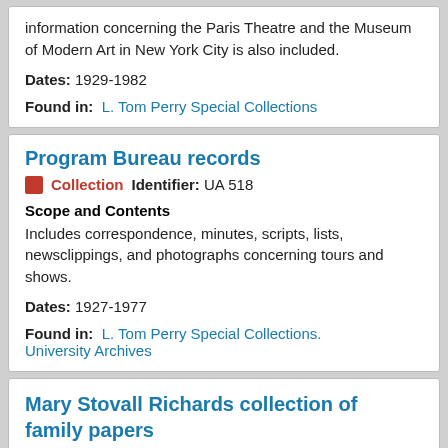information concerning the Paris Theatre and the Museum of Modern Art in New York City is also included.
Dates: 1929-1982
Found in: L. Tom Perry Special Collections
Program Bureau records
Collection   Identifier: UA 518
Scope and Contents
Includes correspondence, minutes, scripts, lists, newsclippings, and photographs concerning tours and shows.
Dates: 1927-1977
Found in: L. Tom Perry Special Collections. University Archives
Mary Stovall Richards collection of family papers